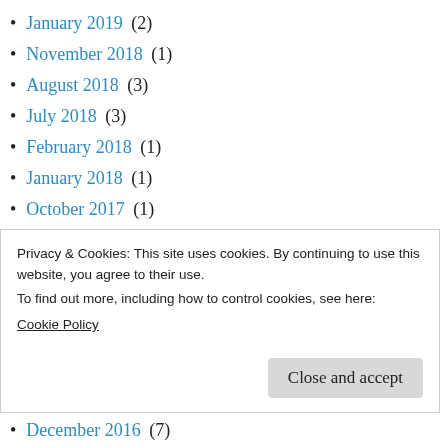January 2019 (2)
November 2018 (1)
August 2018 (3)
July 2018 (3)
February 2018 (1)
January 2018 (1)
October 2017 (1)
September 2017 (1)
July 2017 (1)
June 2017 (12)
May 2017 (8)
Privacy & Cookies: This site uses cookies. By continuing to use this website, you agree to their use.
To find out more, including how to control cookies, see here:
Cookie Policy
Close and accept
December 2016 (7)